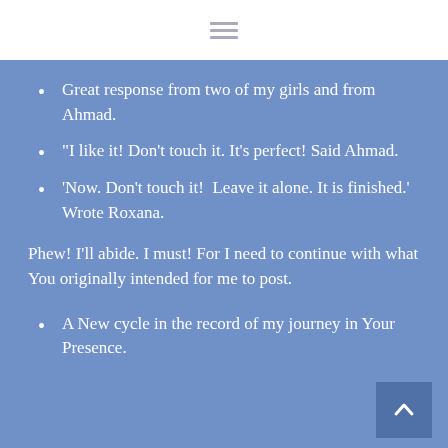≡ (hamburger menu icon)
Great response from two of my girls and from Ahmad.
“I like it! Don’t touch it. It’s perfect! Said Ahmad.
‘Now. Don’t touch it!  Leave it alone. It is finished.’ Wrote Roxana.
Phew! I’ll abide. I must! For I need to continue with what You originally intended for me to post.
A New cycle in the record of my journey in Your Presence.